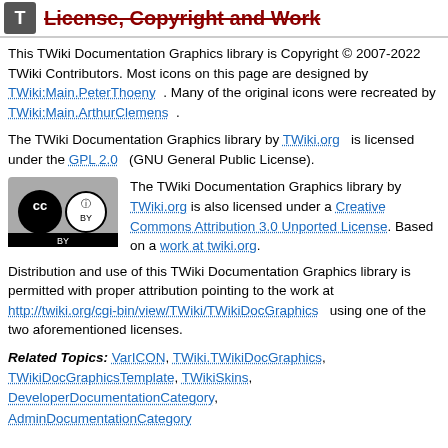License, Copyright and Work
This TWiki Documentation Graphics library is Copyright © 2007-2022 TWiki Contributors. Most icons on this page are designed by TWiki:Main.PeterThoeny . Many of the original icons were recreated by TWiki:Main.ArthurClemens .
The TWiki Documentation Graphics library by TWiki.org is licensed under the GPL 2.0 (GNU General Public License).
[Figure (logo): Creative Commons BY license badge showing CC and BY icons]
The TWiki Documentation Graphics library by TWiki.org is also licensed under a Creative Commons Attribution 3.0 Unported License. Based on a work at twiki.org.
Distribution and use of this TWiki Documentation Graphics library is permitted with proper attribution pointing to the work at http://twiki.org/cgi-bin/view/TWiki/TWikiDocGraphics using one of the two aforementioned licenses.
Related Topics: VarICON, TWiki.TWikiDocGraphics, TWikiDocGraphicsTemplate, TWikiSkins, DeveloperDocumentationCategory, AdminDocumentationCategory